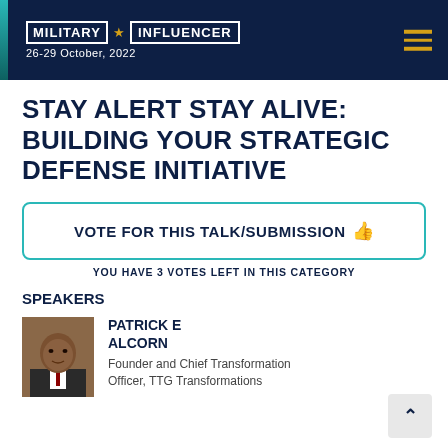MILITARY ★ INFLUENCER 26-29 October, 2022
STAY ALERT STAY ALIVE: BUILDING YOUR STRATEGIC DEFENSE INITIATIVE
VOTE FOR THIS TALK/SUBMISSION 👍
YOU HAVE 3 VOTES LEFT IN THIS CATEGORY
SPEAKERS
PATRICK E ALCORN
Founder and Chief Transformation Officer, TTG Transformations